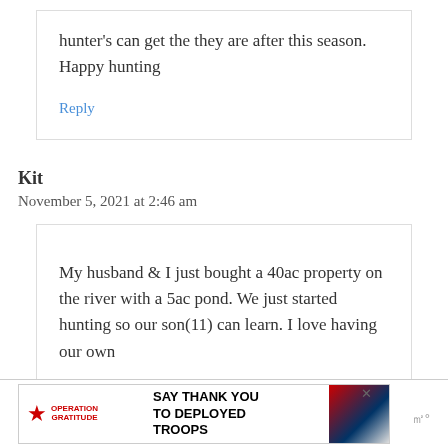hunter's can get the they are after this season. Happy hunting
Reply
Kit
November 5, 2021 at 2:46 am
My husband & I just bought a 40ac property on the river with a 5ac pond. We just started hunting so our son(11) can learn. I love having our own
[Figure (screenshot): Advertisement banner for Operation Gratitude: SAY THANK YOU TO DEPLOYED TROOPS, with logo of Operation Gratitude and patriotic imagery]